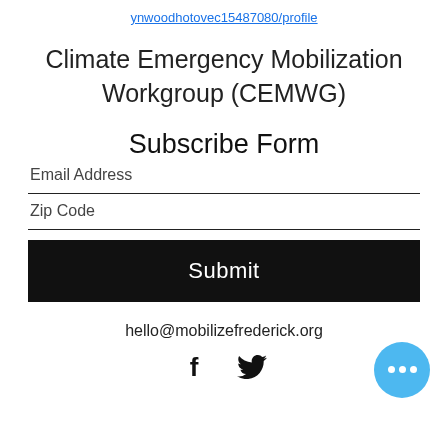ynwoodhotovec15487080/profile
Climate Emergency Mobilization Workgroup (CEMWG)
Subscribe Form
Email Address
Zip Code
Submit
hello@mobilizefrederick.org